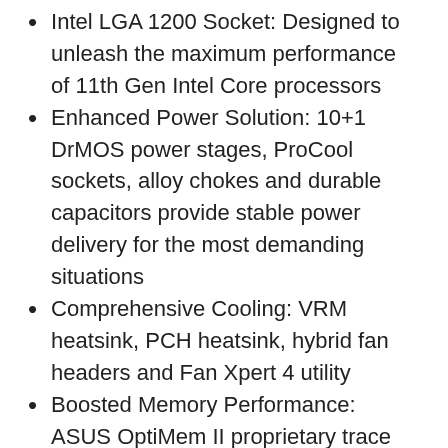Intel LGA 1200 Socket: Designed to unleash the maximum performance of 11th Gen Intel Core processors
Enhanced Power Solution: 10+1 DrMOS power stages, ProCool sockets, alloy chokes and durable capacitors provide stable power delivery for the most demanding situations
Comprehensive Cooling: VRM heatsink, PCH heatsink, hybrid fan headers and Fan Xpert 4 utility
Boosted Memory Performance: ASUS OptiMem II proprietary trace layout allows memory kits to operate at higher frequencies with lower voltages to maximize system performance.
Ultrafast Connectivity: PCIe 4.0, 3x M.2, 2.5 Gb LAN, front panel USB 3.2 Gen 2X2 Type-C and